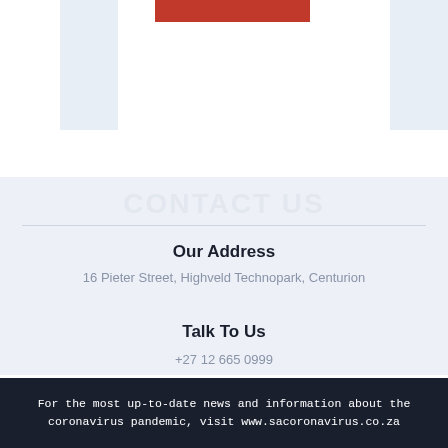[Figure (other): Partial top banner with red bar accent and light blue side accents on white background]
Our Address
16 Pieter Street, Highveld Technopark, Centurion
Talk To Us
+27 12 665 0999
For the most up-to-date news and information about the coronavirus pandemic, visit www.sacoronavirus.co.za